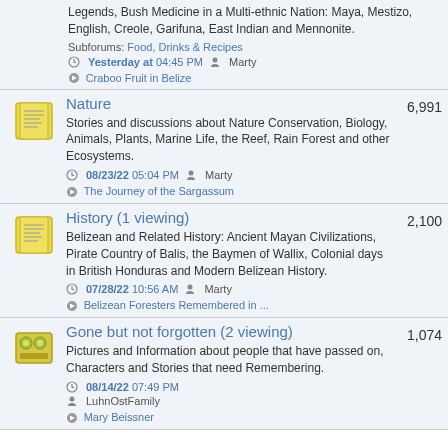Legends, Bush Medicine in a Multi-ethnic Nation: Maya, Mestizo, English, Creole, Garifuna, East Indian and Mennonite.
Subforums: Food, Drinks & Recipes
Yesterday at 04:45 PM  Marty
Craboo Fruit in Belize
Nature
6,991
Stories and discussions about Nature Conservation, Biology, Animals, Plants, Marine Life, the Reef, Rain Forest and other Ecosystems.
08/23/22 05:04 PM  Marty
The Journey of the Sargassum
History (1 viewing)
2,100
Belizean and Related History: Ancient Mayan Civilizations, Pirate Country of Balis, the Baymen of Wallix, Colonial days in British Honduras and Modern Belizean History.
07/28/22 10:56 AM  Marty
Belizean Foresters Remembered in ...
Gone but not forgotten (2 viewing)
1,074
Pictures and Information about people that have passed on, Characters and Stories that need Remembering.
08/14/22 07:49 PM
LuhnOstFamily
Mary Beissner